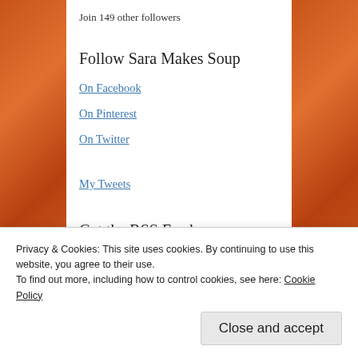Join 149 other followers
Follow Sara Makes Soup
On Facebook
On Pinterest
On Twitter
My Tweets
Get the RSS Feed
Privacy & Cookies: This site uses cookies. By continuing to use this website, you agree to their use.
To find out more, including how to control cookies, see here: Cookie Policy
Close and accept